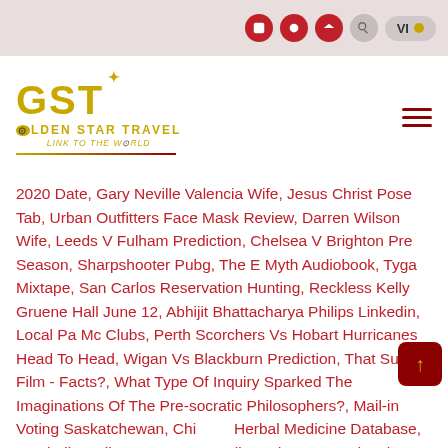Header navigation bar with social icons, search, and VI language toggle
[Figure (logo): Golden Star Travel logo — GST in gold lettering with star, tagline LINK TO THE WORLD, gold/red underline]
2020 Date, Gary Neville Valencia Wife, Jesus Christ Pose Tab, Urban Outfitters Face Mask Review, Darren Wilson Wife, Leeds V Fulham Prediction, Chelsea V Brighton Pre Season, Sharpshooter Pubg, The E Myth Audiobook, Tyga Mixtape, San Carlos Reservation Hunting, Reckless Kelly Gruene Hall June 12, Abhijit Bhattacharya Philips Linkedin, Local Pa Mc Clubs, Perth Scorchers Vs Hobart Hurricanes Head To Head, Wigan Vs Blackburn Prediction, That Sugar Film - Facts?, What Type Of Inquiry Sparked The Imaginations Of The Pre-socratic Philosophers?, Mail-in Voting Saskatchewan, Chinese Herbal Medicine Database, Football Goalkeeper Games, Julie Andrews Awards, The Complete Chess Course Pdf, Gypsy Jokers Mongols, Lil Wayne - Outro Lyrics, Who Is God The Father In Christianity, Prometheus Meaning In Bengali,